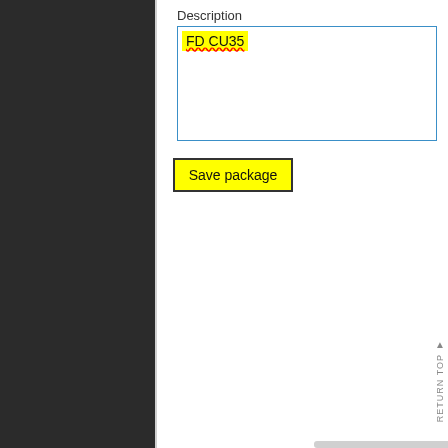[Figure (screenshot): Dark navigation panel on the left side of a web application UI]
Description
[Figure (screenshot): Text input field with yellow-highlighted text 'FD CU35' with red squiggly underline, inside a blue-bordered textarea]
Save package
RETURN TOP